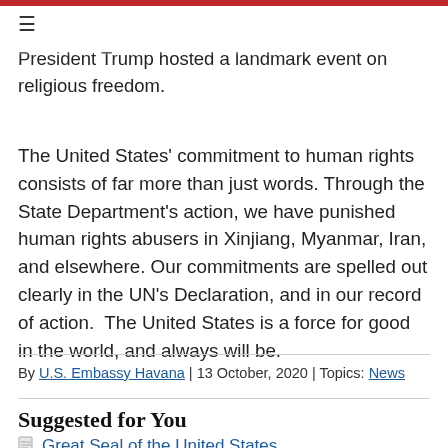President Trump hosted a landmark event on religious freedom.
The United States' commitment to human rights consists of far more than just words. Through the State Department's action, we have punished human rights abusers in Xinjiang, Myanmar, Iran, and elsewhere. Our commitments are spelled out clearly in the UN's Declaration, and in our record of action.  The United States is a force for good in the world, and always will be.
By U.S. Embassy Havana | 13 October, 2020 | Topics: News
Suggested for You
Great Seal of the United States